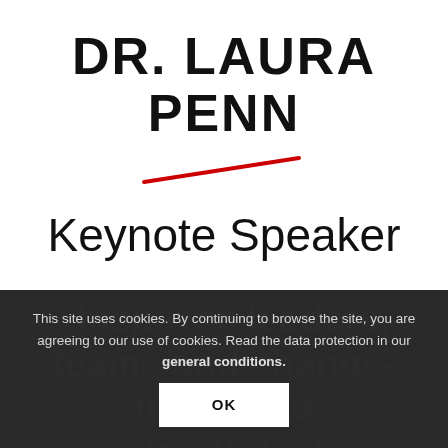DR. LAURA PENN
Keynote Speaker
This site uses cookies. By continuing to browse the site, you are agreeing to our use of cookies. Read the data protection in our general conditions.
OK
“Inspiring leaders, teams and change-makers to communicate authentically, activate deeper